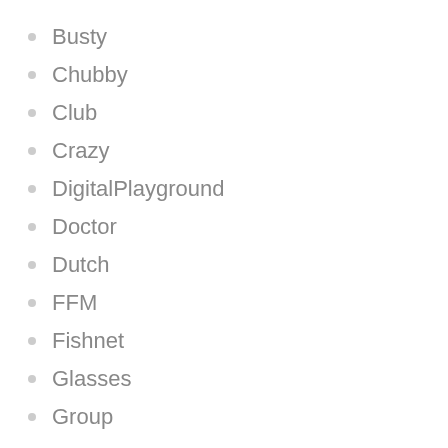Busty
Chubby
Club
Crazy
DigitalPlayground
Doctor
Dutch
FFM
Fishnet
Glasses
Group